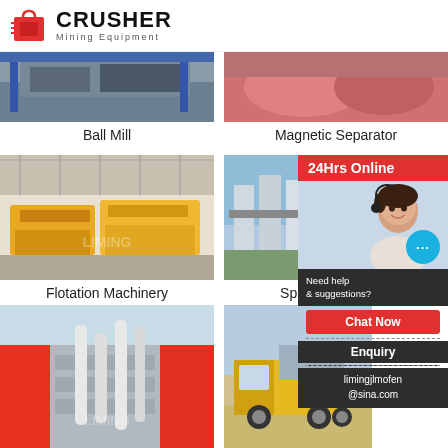[Figure (logo): Crusher Mining Equipment logo with red shopping bag icon and bold black CRUSHER text]
[Figure (photo): Partial photo of Ball Mill industrial equipment]
Ball Mill
[Figure (photo): Partial photo of Magnetic Separator equipment]
Magnetic Separator
[Figure (photo): Photo of yellow Flotation Machinery in a warehouse]
Flotation Machinery
[Figure (photo): Photo of Spiral Classifier industrial equipment outdoors]
Spiral
[Figure (photo): Photo of grey industrial building with white pipes]
[Figure (photo): Photo of yellow mobile equipment/truck]
[Figure (infographic): 24Hrs Online customer service panel with chat agent photo, Need suggestions text, Chat Now button, Enquiry section, and limingjlmofen@sina.com email]